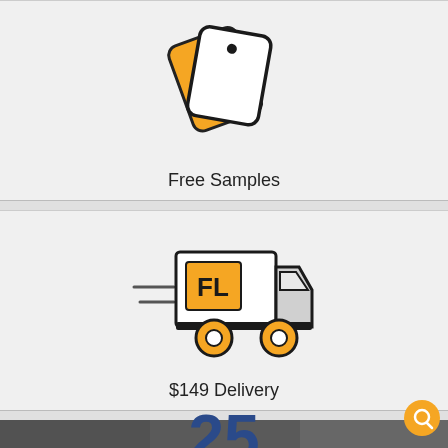[Figure (illustration): Icon of two overlapping white rounded-rectangle cards/tags with an orange bottom card, tilted, with a hole punch at top — representing free samples]
Free Samples
[Figure (illustration): Icon of a delivery truck with 'FL' logo on the side (orange letters on orange background box), orange wheels, speed lines on the left side]
$149 Delivery
[Figure (photo): Bottom partial photo showing floor/carpet with a large blue bold number '25' partially visible]